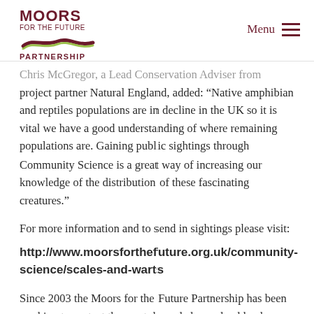MOORS FOR THE FUTURE PARTNERSHIP — Menu
Chris McGregor, a Lead Conservation Adviser from project partner Natural England, added: “Native amphibian and reptiles populations are in decline in the UK so it is vital we have a good understanding of where remaining populations are. Gaining public sightings through Community Science is a great way of increasing our knowledge of the distribution of these fascinating creatures.”
For more information and to send in sightings please visit:
http://www.moorsforthefuture.org.uk/community-science/scales-and-warts
Since 2003 the Moors for the Future Partnership has been working to protect the most degraded moorland landscape in Europe, and raise awareness of how vital it is to conserve the internationally important Blanket Bog habitat of the South Pennines, Moors, South Lakes Fells and